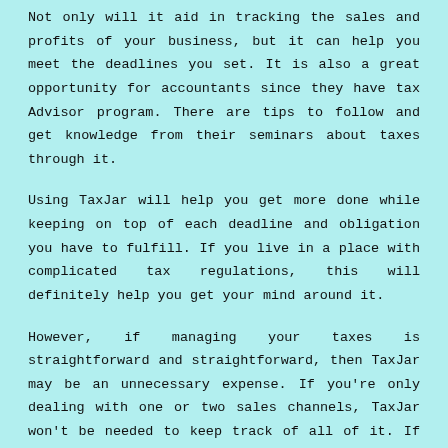Not only will it aid in tracking the sales and profits of your business, but it can help you meet the deadlines you set. It is also a great opportunity for accountants since they have tax Advisor program. There are tips to follow and get knowledge from their seminars about taxes through it.
Using TaxJar will help you get more done while keeping on top of each deadline and obligation you have to fulfill. If you live in a place with complicated tax regulations, this will definitely help you get your mind around it.
However, if managing your taxes is straightforward and straightforward, then TaxJar may be an unnecessary expense. If you're only dealing with one or two sales channels, TaxJar won't be needed to keep track of all of it. If you're finding the entire procedure simple to follow then you're better in doing it all on your own.